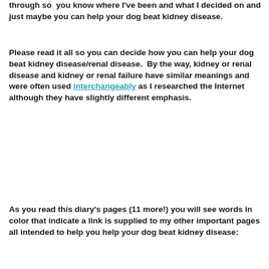through so you know where I've been and what I decided on and just maybe you can help your dog beat kidney disease.
Please read it all so you can decide how you can help your dog beat kidney disease/renal disease.  By the way, kidney or renal disease and kidney or renal failure have similar meanings and were often used interchangeably as I researched the Internet although they have slightly different emphasis.
As you read this diary's pages (11 more!) you will see words in color that indicate a link is supplied to my other important pages all intended to help you help your dog beat kidney disease: